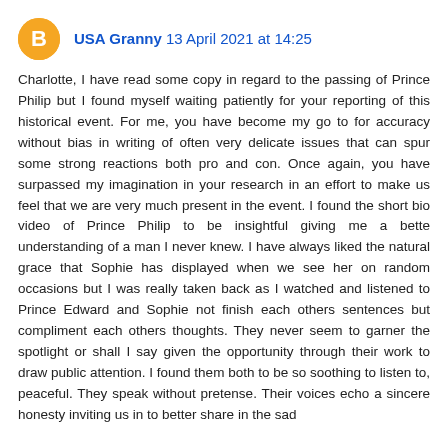[Figure (illustration): Orange circular blogger avatar icon with white 'B' letter inside]
USA Granny 13 April 2021 at 14:25
Charlotte, I have read some copy in regard to the passing of Prince Philip but I found myself waiting patiently for your reporting of this historical event. For me, you have become my go to for accuracy without bias in writing of often very delicate issues that can spur some strong reactions both pro and con. Once again, you have surpassed my imagination in your research in an effort to make us feel that we are very much present in the event. I found the short bio video of Prince Philip to be insightful giving me a bette understanding of a man I never knew. I have always liked the natural grace that Sophie has displayed when we see her on random occasions but I was really taken back as I watched and listened to Prince Edward and Sophie not finish each others sentences but compliment each others thoughts. They never seem to garner the spotlight or shall I say given the opportunity through their work to draw public attention. I found them both to be so soothing to listen to, peaceful. They speak without pretense. Their voices echo a sincere honesty inviting us in to better share in the sad